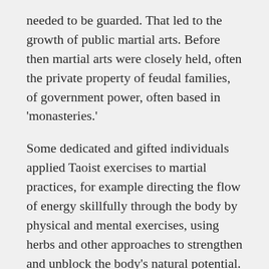needed to be guarded. That led to the growth of public martial arts. Before then martial arts were closely held, often the private property of feudal families, of government power, often based in 'monasteries.'
Some dedicated and gifted individuals applied Taoist exercises to martial practices, for example directing the flow of energy skillfully through the body by physical and mental exercises, using herbs and other approaches to strengthen and unblock the body's natural potential. They undertook these practices in an effort to harmonize their body and mind with the phenomenal world, for the sake of victory in battle, for longevity and health or for all these reasons. The exceptional practices